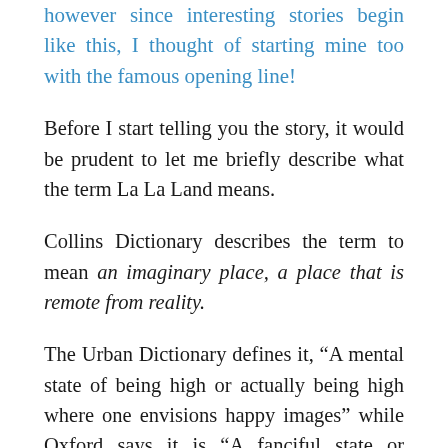however since interesting stories begin like this, I thought of starting mine too with the famous opening line!
Before I start telling you the story, it would be prudent to let me briefly describe what the term La La Land means.
Collins Dictionary describes the term to mean an imaginary place, a place that is remote from reality.
The Urban Dictionary defines it, “A mental state of being high or actually being high where one envisions happy images” while Oxford says it is “A fanciful state or dreamworld.”